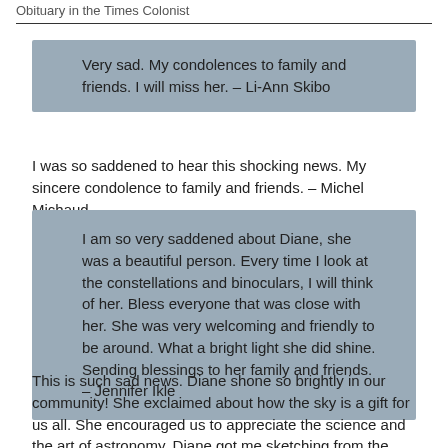Obituary in the Times Colonist
Very sad. My condolences to family and friends. I will miss her. – Li-Ann Skibo
I was so saddened to hear this shocking news. My sincere condolence to family and friends. – Michel Michaud
I am so very saddened about Diane, she was a beautiful person. Every time I look at the constellations and binoculars, I will think of her. Bless everyone that was close with her. She was very welcoming and friendly to be around. What a bright light she did shine. Sending blessings to her family and friends. – Jennifer Ikle
This is such sad news. Diane shone so brightly in our community! She exclaimed about how the sky is a gift for us all. She encouraged us to appreciate the science and the art of astronomy. Diane got me sketching from the telescope eyepiece – and then I saw so much more than I had before. Her clever cookies and quilts